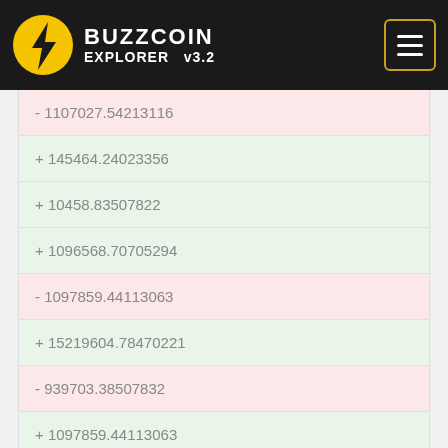BUZZCOIN EXPLORER v3.2
- 1107027.54213116
+ 145464.24023356
+ 10458.83507822
+ 1096568.70705294
- 1097859.44113063
+ 15219604.78470221
- 939703.38507832
+ 1097859.44113063
+ 939703.38507832